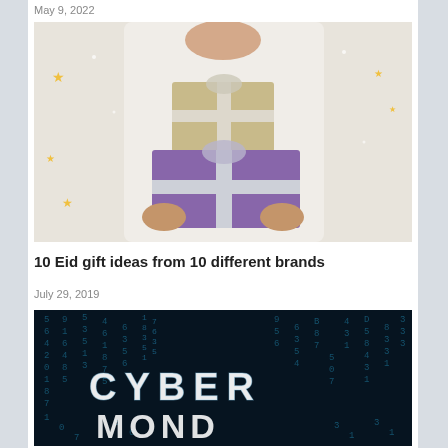May 9, 2022
[Figure (photo): Woman in white outfit holding two wrapped gift boxes — a beige/gold one on top and a purple one with white ribbon below, on a light background with gold star decorations]
10 Eid gift ideas from 10 different brands
July 29, 2019
[Figure (photo): Dark teal background with falling digital numbers/matrix style effect, with large glowing text reading CYBER MONDAY in the center]